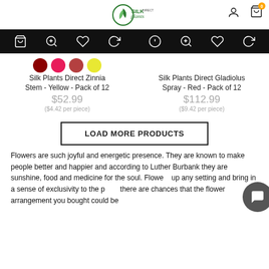[Figure (logo): Silk Plants Direct logo with person and cart icons in header]
[Figure (screenshot): Product action bar with cart, zoom, heart, and refresh icons for Zinnia product]
[Figure (screenshot): Product action bar with info, zoom, heart, and refresh icons for Gladiolus product]
Silk Plants Direct Zinnia Stem - Yellow - Pack of 12
$52.99
($4.42 per piece)
Silk Plants Direct Gladiolus Spray - Red - Pack of 12
$112.99
($9.42 per piece)
LOAD MORE PRODUCTS
Flowers are such joyful and energetic presence. They are known to make people better and happier and according to Luther Burbank they are sunshine, food and medicine for the soul. Flowe... up any setting and bring in a sense of exclusivity to the p... there are chances that the flower arrangement you bought could be sitting on you...